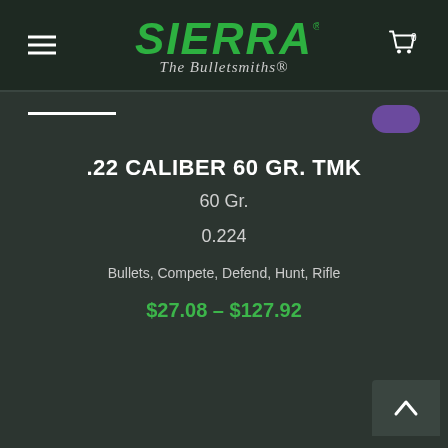[Figure (logo): Sierra Bullets logo — green stylized text 'SIERRA' with tagline 'The Bulletsmiths®' in italic script below]
.22 CALIBER 60 GR. TMK
60 Gr.
0.224
Bullets, Compete, Defend, Hunt, Rifle
$27.08 – $127.92